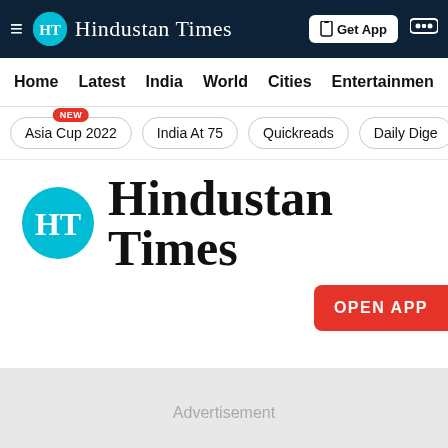≡ HT Hindustan Times   Get App 🎮
Home   Latest   India   World   Cities   Entertainment
Asia Cup 2022 NEW   India At 75   Quickreads   Daily Dige
[Figure (logo): Hindustan Times logo — teal HT circle with large Hindustan Times blackletter text]
OPEN APP
Advertisement